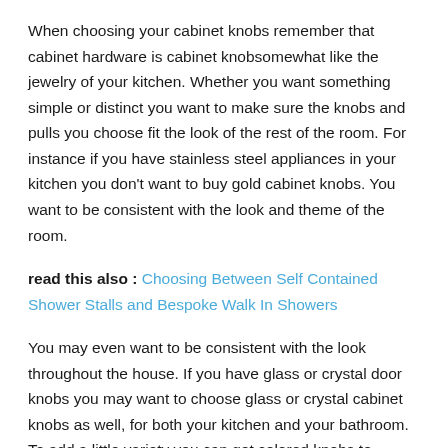When choosing your cabinet knobs remember that cabinet hardware is cabinet knobsomewhat like the jewelry of your kitchen. Whether you want something simple or distinct you want to make sure the knobs and pulls you choose fit the look of the rest of the room. For instance if you have stainless steel appliances in your kitchen you don't want to buy gold cabinet knobs. You want to be consistent with the look and theme of the room.
read this also : Choosing Between Self Contained Shower Stalls and Bespoke Walk In Showers
You may even want to be consistent with the look throughout the house. If you have glass or crystal door knobs you may want to choose glass or crystal cabinet knobs as well, for both your kitchen and your bathroom. To add a little variety you can get colored knobs to accent each room. You can